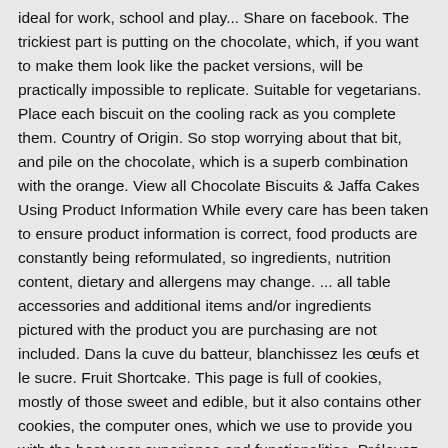ideal for work, school and play... Share on facebook. The trickiest part is putting on the chocolate, which, if you want to make them look like the packet versions, will be practically impossible to replicate. Suitable for vegetarians. Place each biscuit on the cooling rack as you complete them. Country of Origin. So stop worrying about that bit, and pile on the chocolate, which is a superb combination with the orange. View all Chocolate Biscuits & Jaffa Cakes Using Product Information While every care has been taken to ensure product information is correct, food products are constantly being reformulated, so ingredients, nutrition content, dietary and allergens may change. ... all table accessories and additional items and/or ingredients pictured with the product you are purchasing are not included. Dans la cuve du batteur, blanchissez les œufs et le sucre. Fruit Shortcake. This page is full of cookies, mostly of those sweet and edible, but it also contains other cookies, the computer ones, which we use to provide you with the best user experience and functionalities. Prélevez une petite partie de l'appareil et mélangez avec le beurre fondu.